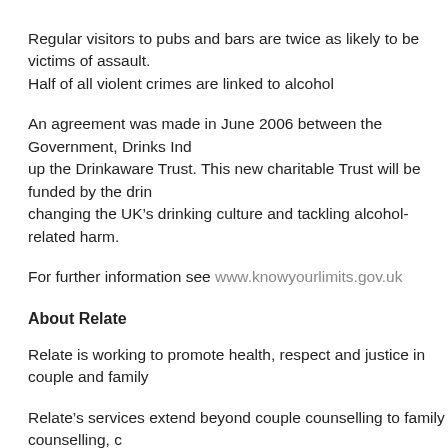Regular visitors to pubs and bars are twice as likely to be victims of assault. Half of all violent crimes are linked to alcohol
An agreement was made in June 2006 between the Government, Drinks Industry and others to set up the Drinkaware Trust. This new charitable Trust will be funded by the drinks industry with the aim of changing the UK’s drinking culture and tackling alcohol-related harm.
For further information see www.knowyourlimits.gov.uk
About Relate
Relate is working to promote health, respect and justice in couple and family relationships.
Relate’s services extend beyond couple counselling to family counselling, children and young people counselling, sex therapy and relationship skills workshops
Relate works in schools, primary care settings, prisons, and with local authorities to provide services
Relate supports 150,000 people each year in over 600 locations in England,
Citizens Couple Counselling Scotland also known as Relate Scotland...